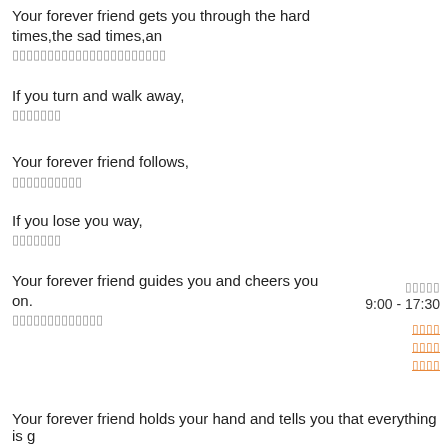Your forever friend gets you through the hard times,the sad times,an
▯▯▯▯▯▯▯▯▯▯▯▯▯▯▯▯▯▯▯▯▯▯
If you turn and walk away,
▯▯▯▯▯▯▯
Your forever friend follows,
▯▯▯▯▯▯▯▯▯▯
▯▯▯▯▯
9:00 - 17:30
If you lose you way,
▯▯▯▯▯▯▯
▯▯▯▯
Your forever friend guides you and cheers you on.
▯▯▯▯
▯▯▯▯▯▯▯▯▯▯▯▯▯
▯▯▯▯
Your forever friend holds your hand and tells you that everything is g